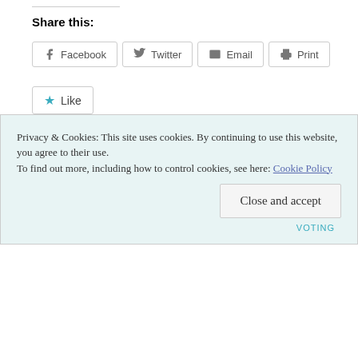Share this:
Facebook  Twitter  Email  Print
★ Like
Be the first to like this.
POSTED BY
EAST DEVON

POSTED ON
15 OCT 2019

POSTED UNDER
ACCOUNTABILITY,
Privacy & Cookies: This site uses cookies. By continuing to use this website, you agree to their use.
To find out more, including how to control cookies, see here: Cookie Policy
Close and accept
VOTING